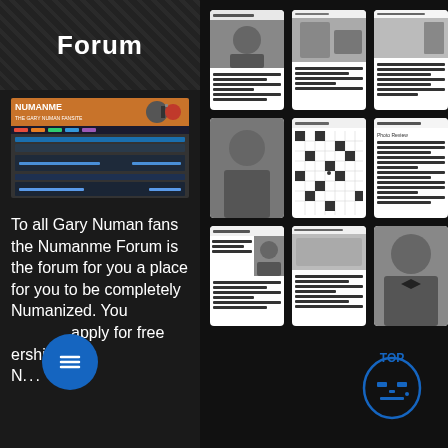Forum
[Figure (screenshot): Screenshot of Numanme forum website with orange header banner and dark blue forum rows]
To all Gary Numan fans the Numanme Forum is the forum for you a place for you to be completely Numanized. You can apply for free membership N...
[Figure (screenshot): Grid of 9 document/magazine page thumbnails on dark background, showing various newsletter or zine pages with photos and text]
[Figure (logo): TOP button with stylized face icon in blue on dark background]